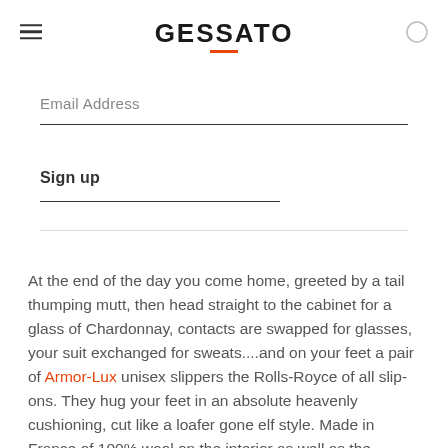GESSATO
Email Address
Sign up
At the end of the day you come home, greeted by a tail thumping mutt, then head straight to the cabinet for a glass of Chardonnay, contacts are swapped for glasses, your suit exchanged for sweats....and on your feet a pair of Armor-Lux unisex slippers the Rolls-Royce of all slip-ons. They hug your feet in an absolute heavenly cushioning, cut like a loafer gone elf style. Made in France of 100% wool on the interior as well as the exterior, and a natural crepe sole just a tad scruff in a wool/cotton fibre blend for extra traction. Available